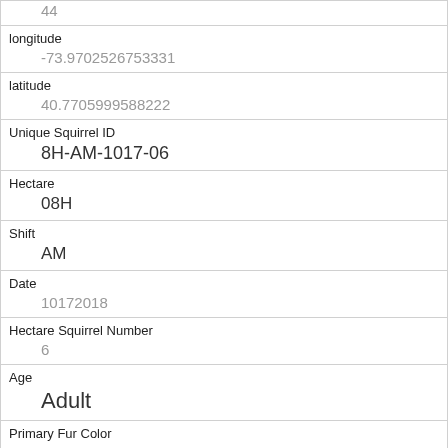| 44 |
| longitude | -73.9702526753331 |
| latitude | 40.7705999588222 |
| Unique Squirrel ID | 8H-AM-1017-06 |
| Hectare | 08H |
| Shift | AM |
| Date | 10172018 |
| Hectare Squirrel Number | 6 |
| Age | Adult |
| Primary Fur Color | Gray |
| Highlight Fur Color |  |